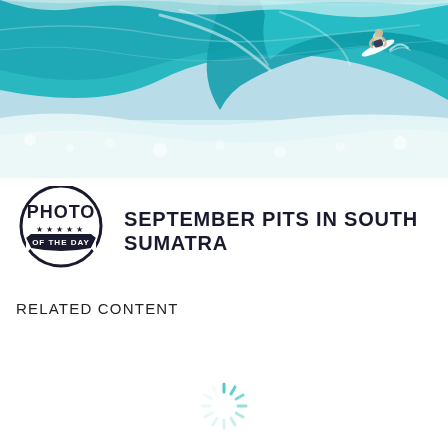[Figure (photo): Aerial or drone photo of a surfer riding a large turquoise barreling wave in South Sumatra. The wave curls overhead with white foam, and the surfer is seen near the top right of the wave.]
[Figure (logo): Photo of the Day badge/logo: bold text PHOTO above a ribbon banner reading OF THE DAY with five stars, styled in black on white.]
SEPTEMBER PITS IN SOUTH SUMATRA
RELATED CONTENT
[Figure (other): Loading spinner icon in teal/cyan color, partially visible at the bottom center of the page.]